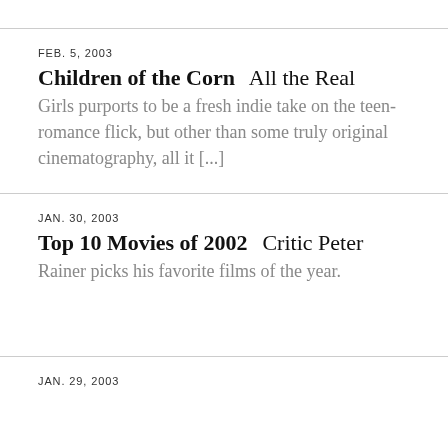FEB. 5, 2003
Children of the Corn  All the Real Girls purports to be a fresh indie take on the teen-romance flick, but other than some truly original cinematography, all it [...]
JAN. 30, 2003
Top 10 Movies of 2002  Critic Peter Rainer picks his favorite films of the year.
JAN. 29, 2003